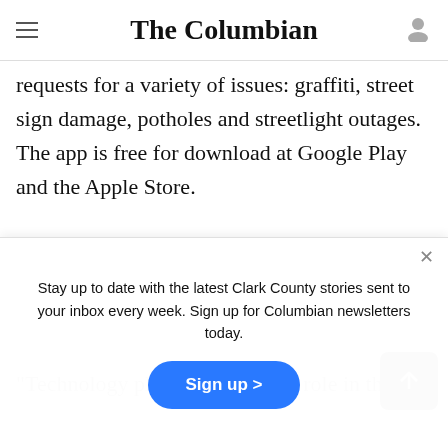The Columbian
requests for a variety of issues: graffiti, street sign damage, potholes and streetlight outages. The app is free for download at Google Play and the Apple Store.
"Technology plays an important role in the
with residents in new ways, Vancouver Mayor Tim Leavitt stated in an email. "We are
Stay up to date with the latest Clark County stories sent to your inbox every week. Sign up for Columbian newsletters today.